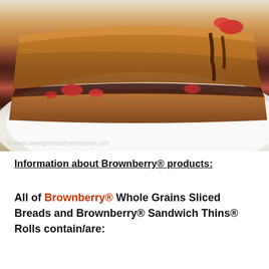[Figure (photo): Close-up photo of a grilled sandwich with chocolate and strawberry filling on a white plate, with a wooden surface visible. Watermark reads: © www.sweetpenniesfromheaven.com]
Information about Brownberry® products:
All of Brownberry® Whole Grains Sliced Breads and Brownberry® Sandwich Thins® Rolls contain/are: